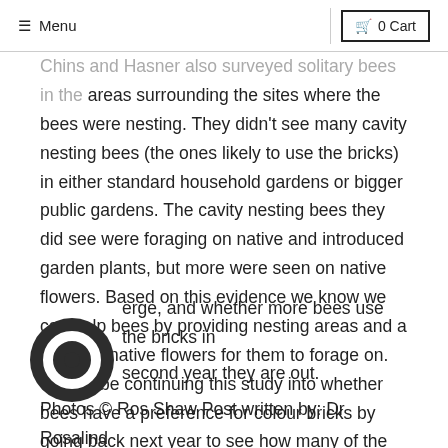≡ Menu  |  🛒 0 Cart
Chins and Hasher also surveyed solitary bees in the areas surrounding the sites where the bees were nesting. They didn't see many cavity nesting bees (the ones likely to use the bricks) in either standard household gardens or bigger public gardens. The cavity nesting bees they did see were foraging on native and introduced garden plants, but more were seen on native flowers. Based on this evidence we know we can help bees by providing nesting areas and a range of native flowers for them to forage on. We will be continuing this study into whether bees have a preference for colour bricks by going back next year to see how many of the nesting bees emerge, and whether more bees use the bricks in second year they are out.
Photos © Ros Shaw Post written by: Dr Rosalind